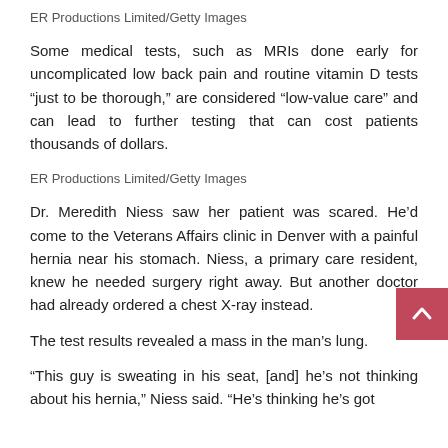ER Productions Limited/Getty Images
Some medical tests, such as MRIs done early for uncomplicated low back pain and routine vitamin D tests “just to be thorough,” are considered “low-value care” and can lead to further testing that can cost patients thousands of dollars.
ER Productions Limited/Getty Images
Dr. Meredith Niess saw her patient was scared. He’d come to the Veterans Affairs clinic in Denver with a painful hernia near his stomach. Niess, a primary care resident, knew he needed surgery right away. But another doctor had already ordered a chest X-ray instead.
The test results revealed a mass in the man’s lung.
“This guy is sweating in his seat, [and] he’s not thinking about his hernia,” Niess said. “He’s thinking he’s got